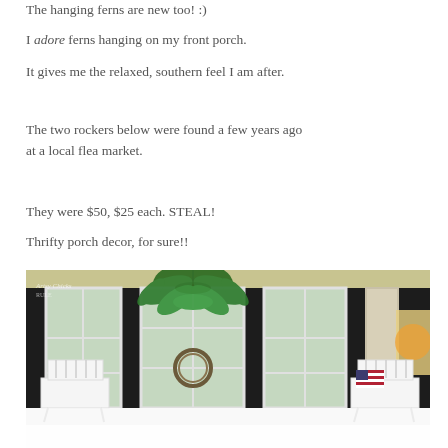The hanging ferns are new too! :)
I adore ferns hanging on my front porch.
It gives me the relaxed, southern feel I am after.
The two rockers below were found a few years ago at a local flea market.
They were $50, $25 each. STEAL!
Thrifty porch decor, for sure!!
[Figure (photo): Front porch with white rocking chairs, large hanging fern, French windows with black shutters, wreath on window, American flag visible on right side. White rocking chairs reflected on white porch floor at bottom.]